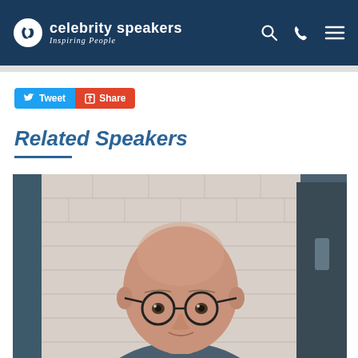celebrity speakers — Inspiring People
[Figure (logo): Celebrity Speakers logo with circular icon and tagline 'Inspiring People']
Tweet  Share
Related Speakers
[Figure (photo): Bald man with round dark-framed glasses, smiling slightly, in front of a white brick wall with dark door frame in background]